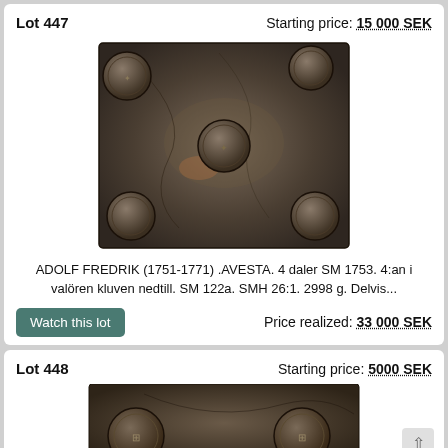Lot 447   Starting price: 15 000 SEK
[Figure (photo): Large rectangular copper/bronze plate money (plåtmynt) with embossed coin stamps at corners and center, dark patinated surface, showing ADOLF FREDRIK 4 daler SM 1753]
ADOLF FREDRIK (1751-1771) .AVESTA. 4 daler SM 1753. 4:an i valören kluven nedtill. SM 122a. SMH 26:1. 2998 g. Delvis...
Watch this lot
Price realized: 33 000 SEK
Lot 448   Starting price: 5000 SEK
[Figure (photo): Rectangular copper plate money with embossed coin stamps, dark bronze surface, partial view at bottom of page]